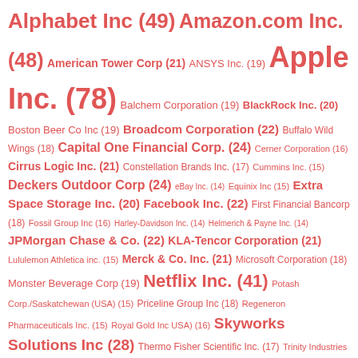[Figure (infographic): Word cloud of company names with frequency counts in parentheses. Companies appear in varying font sizes proportional to their counts. All text is rendered in a salmon/red color. Companies listed include: Alphabet Inc (49), Amazon.com Inc. (48), American Tower Corp (21), ANSYS Inc. (19), Apple Inc. (78), Balchem Corporation (19), BlackRock Inc. (20), Boston Beer Co Inc (19), Broadcom Corporation (22), Buffalo Wild Wings (18), Capital One Financial Corp. (24), Cerner Corporation (16), Cirrus Logic Inc. (21), Constellation Brands Inc. (17), Cummins Inc. (15), Deckers Outdoor Corp (24), eBay Inc. (14), Equinix Inc (15), Extra Space Storage Inc. (20), Facebook Inc. (22), First Financial Bancorp (18), Fossil Group Inc (16), Harley-Davidson Inc. (14), Helmerich & Payne Inc. (14), JPMorgan Chase & Co. (22), KLA-Tencor Corporation (21), Lululemon Athletica inc. (15), Merck & Co. Inc. (21), Microsoft Corporation (18), Monster Beverage Corp (19), Netflix Inc. (41), Potash Corp./Saskatchewan (USA) (15), Priceline Group Inc (18), Regeneron Pharmaceuticals Inc. (15), Royal Gold Inc USA) (16), Skyworks Solutions Inc (28), Thermo Fisher Scientific Inc. (17), Trinity Industries Inc (15), Ulta Salon Cosmetics & Fragrance Inc. (25), Under Armour Inc. (21), Yahoo! Inc. (19)]